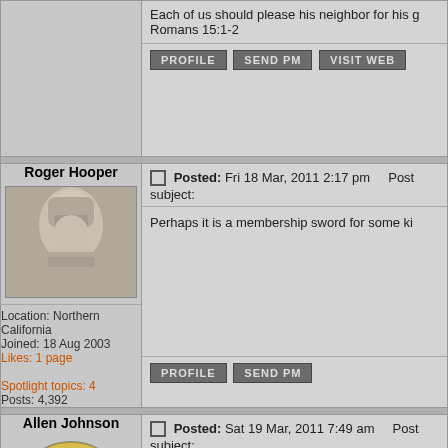Each of us should please his neighbor for his g
Romans 15:1-2
PROFILE  SEND PM  VISIT WEB
Roger Hooper
[Figure (photo): Stone or marble sculpture of a medieval knight wearing a helmet with visor]
Location: Northern California
Joined: 18 Aug 2003
Likes: 1 page
Spotlight topics: 4
Posts: 4,392
Posted: Fri 18 Mar, 2011 2:17 pm    Post subject:
Perhaps it is a membership sword for some ki
PROFILE  SEND PM
Allen Johnson
[Figure (illustration): Clan badge or emblem with a green dragon/serpent design in a circular ring with a white background]
Posted: Sat 19 Mar, 2011 7:49 am    Post subject:
Or a victorian opera/stage prop?